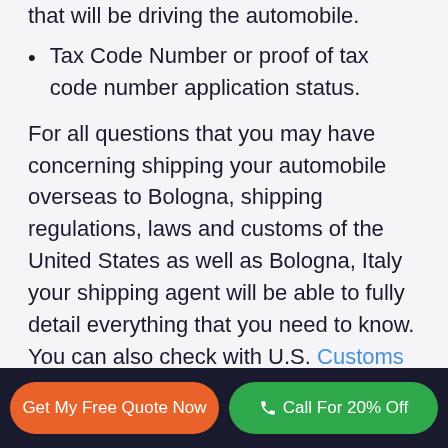that will be driving the automobile.
Tax Code Number or proof of tax code number application status.
For all questions that you may have concerning shipping your automobile overseas to Bologna, shipping regulations, laws and customs of the United States as well as Bologna, Italy your shipping agent will be able to fully detail everything that you need to know. You can also check with U.S. Customs for information on personal items that you will be allowed to take with you if you are planning on relocating with
Get My Free Quote Now
Call For 20% Off